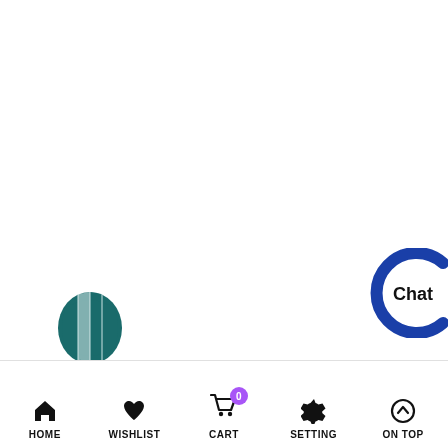[Figure (logo): Hot air balloon logo in teal/dark teal color, with vertical stripes, positioned bottom left above nav bar]
[Figure (logo): Chat widget button with blue circular C shape and 'Chat' text, partially visible at bottom right]
[Figure (infographic): Bottom navigation bar with 5 items: HOME (house icon), WISHLIST (heart icon), CART (shopping cart icon with purple badge showing 0), SETTING (gear icon), ON TOP (circle with up arrow icon)]